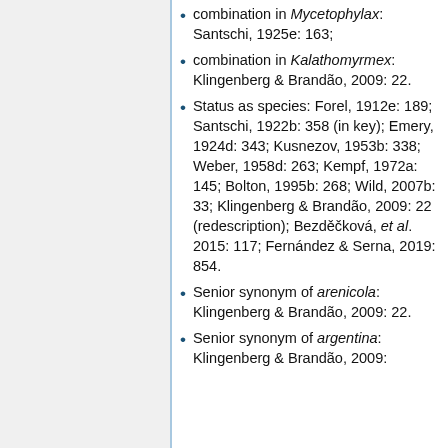combination in Mycetophylax: Santschi, 1925e: 163;
combination in Kalathomyrmex: Klingenberg & Brandão, 2009: 22.
Status as species: Forel, 1912e: 189; Santschi, 1922b: 358 (in key); Emery, 1924d: 343; Kusnezov, 1953b: 338; Weber, 1958d: 263; Kempf, 1972a: 145; Bolton, 1995b: 268; Wild, 2007b: 33; Klingenberg & Brandão, 2009: 22 (redescription); Bezděčková, et al. 2015: 117; Fernández & Serna, 2019: 854.
Senior synonym of arenicola: Klingenberg & Brandão, 2009: 22.
Senior synonym of argentina: Klingenberg & Brandão, 2009: